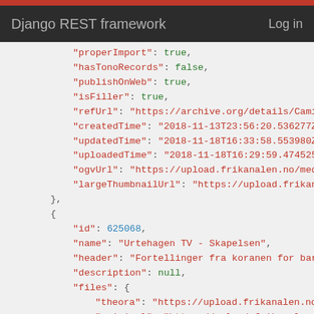Django REST framework   Log in
JSON code block showing API response data with fields: properImport: true, hasTonoRecords: false, publishOnWeb: true, isFiller: true, refUrl, createdTime, updatedTime, uploadedTime, ogvUrl, largeThumbnailUrl, then a new object with id: 625068, name: Urtehagen TV - Skapelsen, header: Fortellinger fra koranen for barn, description: null, files: { theora, original, smallThumb, medThumb, broadcast, largeThumb }